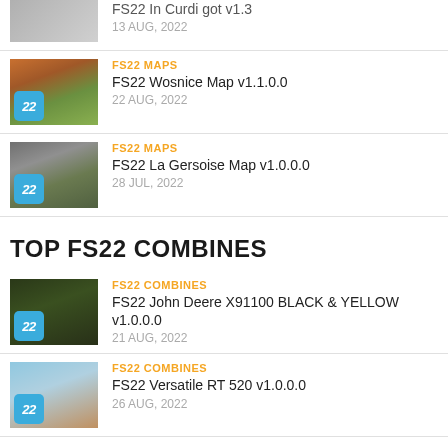FS22 MAPS | FS22 Wosnice Map v1.1.0.0 | 22 AUG, 2022
FS22 MAPS | FS22 La Gersoise Map v1.0.0.0 | 28 JUL, 2022
TOP FS22 COMBINES
FS22 COMBINES | FS22 John Deere X91100 BLACK & YELLOW v1.0.0.0 | 21 AUG, 2022
FS22 COMBINES | FS22 Versatile RT 520 v1.0.0.0 | 26 AUG, 2022